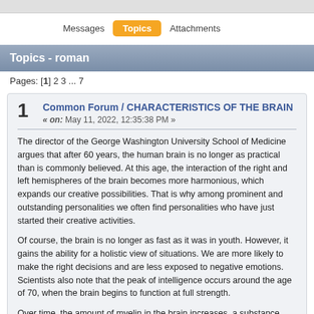Messages  Topics  Attachments
Topics - roman
Pages: [1] 2 3 ... 7
Common Forum / CHARACTERISTICS OF THE BRAIN
« on: May 11, 2022, 12:35:38 PM »
The director of the George Washington University School of Medicine argues that after 60 years, the human brain is no longer as practical than is commonly believed.  At this age, the interaction of the right and left hemispheres of the brain becomes more harmonious, which expands our creative possibilities.  That is why among prominent and outstanding personalities we often find personalities who have just started their creative activities.
Of course, the brain is no longer as fast as it was in youth.  However, it gains the ability for a holistic view of situations.  We are more likely to make the right decisions and are less exposed to negative emotions.  Scientists also note that the peak of intelligence occurs around the age of 70, when the brain begins to function at full strength.
Over time, the amount of myelin in the brain increases, a substance that facilitates the speed and quality of information transmission between neurons.  Due to this, intellectual abilities increase by 300% compared to the age of 20.
Also interesting is the fact that after 60 years, a person can use 2 hemispheres simultaneously and more effectively, which allows solving much more complex problems.
Professor Monchi Uri, from the University of Montreal, believes that the old brain is much more rational. Scientists managed to find that it disciplines the neurons more and uses less resources to do the right thing, in less time.